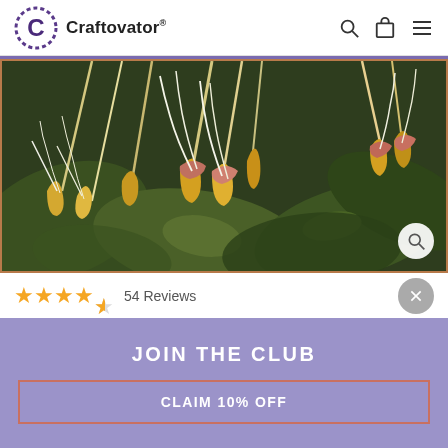Craftovator®
[Figure (photo): Close-up photo of honeysuckle flowers with yellow and pink petals and white stamens against dark green leaves]
★★★★☆ 54 Reviews
JOIN THE CLUB
CLAIM 10% OFF